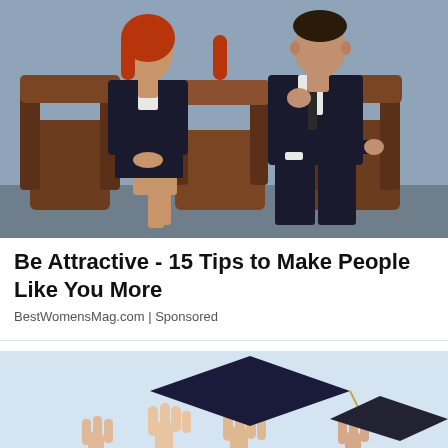[Figure (photo): A man and woman in dark business suits sitting on wooden chairs against a light blue-grey background. The woman has red hair and sits with legs crossed; the man has dark hair and rests his chin on his hand.]
Be Attractive - 15 Tips to Make People Like You More
BestWomensMag.com | Sponsored
[Figure (photo): Hands reaching up tossing graduation caps into the air against a light sky background.]